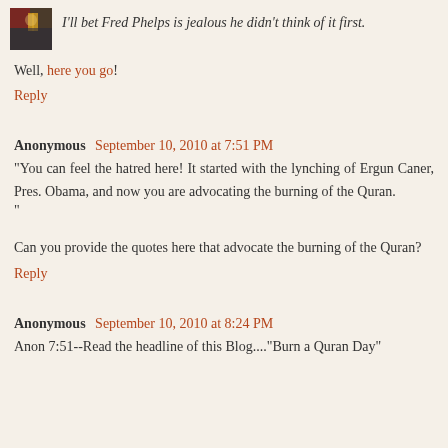I'll bet Fred Phelps is jealous he didn't think of it first.
Well, here you go!
Reply
Anonymous September 10, 2010 at 7:51 PM
"You can feel the hatred here! It started with the lynching of Ergun Caner, Pres. Obama, and now you are advocating the burning of the Quran.
"
Can you provide the quotes here that advocate the burning of the Quran?
Reply
Anonymous September 10, 2010 at 8:24 PM
Anon 7:51--Read the headline of this Blog...."Burn a Quran Day"